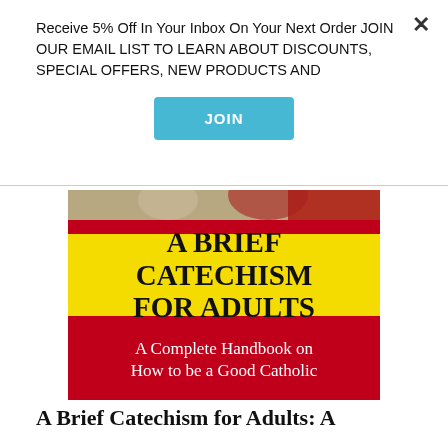Receive 5% Off In Your Inbox On Your Next Order JOIN OUR EMAIL LIST TO LEARN ABOUT DISCOUNTS, SPECIAL OFFERS, NEW PRODUCTS AND
[Figure (screenshot): A blue JOIN button for email list signup]
[Figure (photo): Book cover for 'A Brief Catechism for Adults: A Complete Handbook on How to be a Good Catholic'. Red and yellow cover with bold serif title text.]
A Brief Catechism for Adults: A